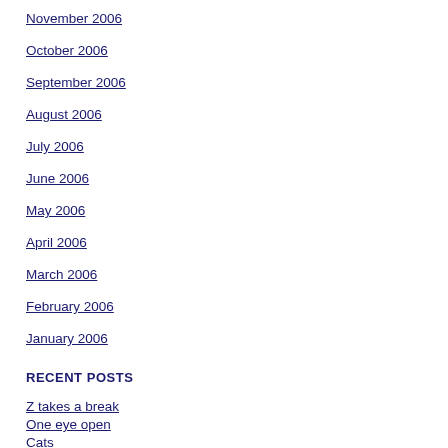November 2006
October 2006
September 2006
August 2006
July 2006
June 2006
May 2006
April 2006
March 2006
February 2006
January 2006
RECENT POSTS
Z takes a break
One eye open
Cats
Wallpapers